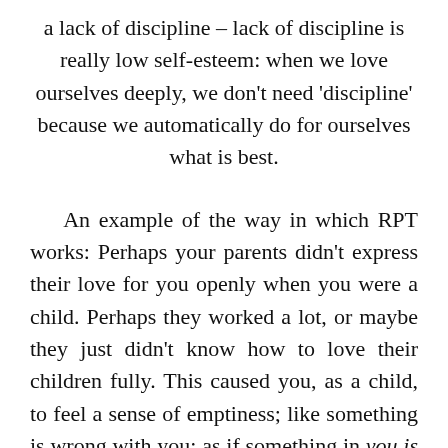a lack of discipline – lack of discipline is really low self-esteem: when we love ourselves deeply, we don't need 'discipline' because we automatically do for ourselves what is best.
An example of the way in which RPT works: Perhaps your parents didn't express their love for you openly when you were a child. Perhaps they worked a lot, or maybe they just didn't know how to love their children fully. This caused you, as a child, to feel a sense of emptiness; like something is wrong with you; as if something in you is missing. This sense of emptiness is a blockage that causes many problems for many people. It